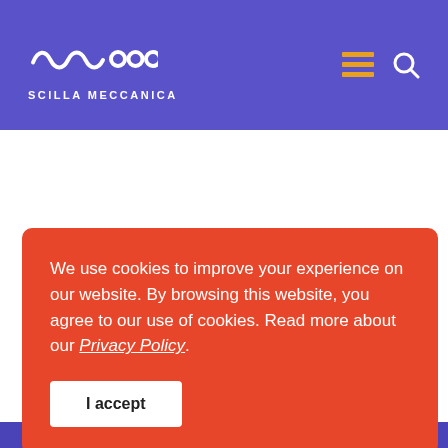SCILLA MECCANICA
We use cookies to improve your experience on our website. By browsing this website, you agree to our use of cookies. Read more about our Privacy Policy.
I accept